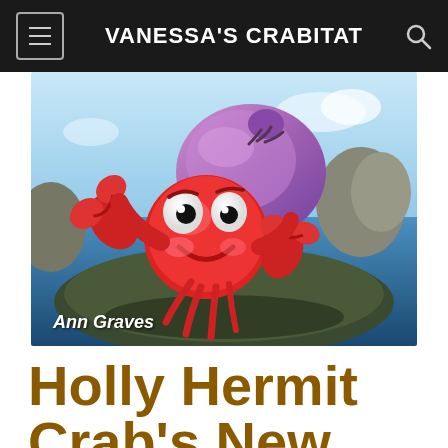VANESSA'S CRABITAT
[Figure (illustration): Book cover illustration of Holly Hermit Crab — a cheerful red cartoon hermit crab wearing a purple/pink shell, with large expressive eyes and claws raised, sitting on a dark rock surface against a blue sky and water background. Author name 'Ann Graves' displayed in white italic text at the bottom left of the cover.]
Holly Hermit Crab's New